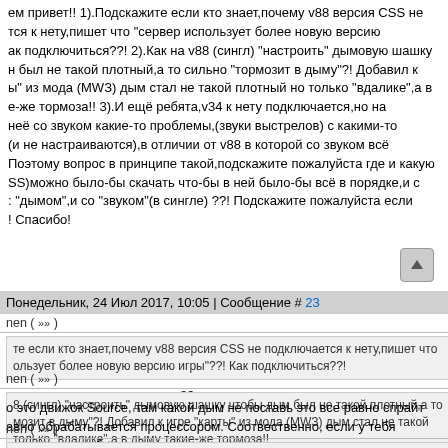ем привет!! 1).Подскажите если кто знает,почему v88 версия CSS не тся к нету,пишет что "сервер использует более новую версию ак подключиться??! 2).Как на v88 (сингл) "настроить" дымовую шашку н был не такой плотный,а то сильно "тормозит в дыму"?! Добавил к ы" из мода (MWЗ) дым стал не такой плотный но только "вдалике",а в е-же тормоза!! 3).И ещё ребята,v34 к нету подключается,но на неё со звуком какие-то проблемы,(звуки выстрелов) с какими-то (и не настраиваются),в отличии от v88 в которой со звуком всё Поэтому вопрос в принципе такой,подскажите пожалуйста где и какую SS)можно было-бы скачать что-бы в ней было-бы всё в порядке,и с: "дымом",и со "звуком"(в сингле) ??! Подскажите пожалуйста если ! Спасибо!
Понедельник, 24 Июл 2017, 10:05 | Сообщение # 23
nen ( ≫ )
те если кто знает,почему v88 версия CSS не подключается к нету,пишет что ользует более новую версию игры"??! Как подключиться??!
потому что есть еще версия 89.
nen ( ≫ )
8 (сингл) "настроить" дымовую шашку чтобы дым был не такой плотный,а то мозит в дыму"?! Добавил к игре "карты" из мода (MWЗ) дым стал не такой только "вдалике",а в дыму такие-же тормоза!!
о это движок Source, там какой дым не поставь это все равно спрайт авно обрабатывается процессором. Соотвественно, если у тебя роц, лучше не будет.
nen ( ≫ )
бята,v34 к нету подключается,но на "сингле" у неё со звуком какие-то проблемы, елов) с какими-то тормазами (и не настраиваются),в отличии от v88 в которой со тлично!! Поэтому вопрос в принципе такой,подскажите пожалуйста где и какую S)можно было-бы скачать что-бы в ней было-бы всё в порядке,и с "нетом" и с